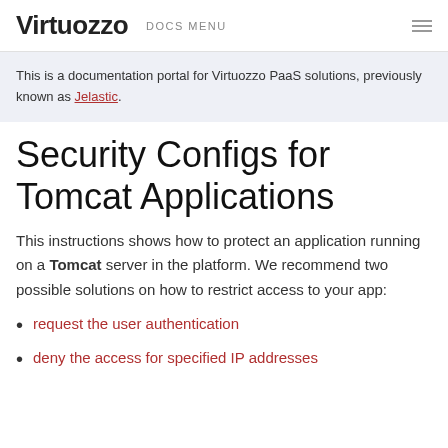Virtuozzo  DOCS MENU
This is a documentation portal for Virtuozzo PaaS solutions, previously known as Jelastic.
Security Configs for Tomcat Applications
This instructions shows how to protect an application running on a Tomcat server in the platform. We recommend two possible solutions on how to restrict access to your app:
request the user authentication
deny the access for specified IP addresses